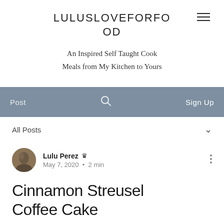LULUSLOVEFORFO OD
An Inspired Self Taught Cook
Meals from My Kitchen to Yours
Post   🔍   Sign Up
All Posts
Lulu Perez 👑
May 7, 2020  •  2 min
Cinnamon Streusel Coffee Cake